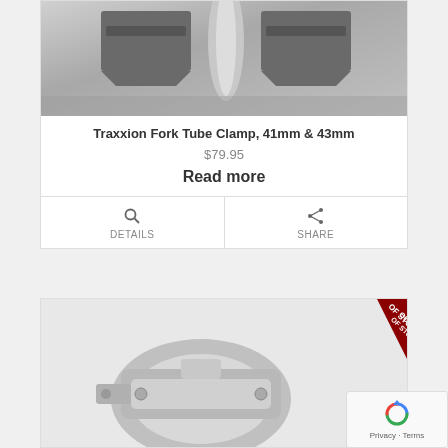[Figure (photo): Close-up product photo of Traxxion Fork Tube Clamp hardware pieces in grey/dark finish]
Traxxion Fork Tube Clamp, 41mm & 43mm
$79.95
Read more
DETAILS
SHARE
[Figure (photo): Product photo of a chrome/silver clamp hardware piece with 'OUT OF STOCK' banner overlay in red]